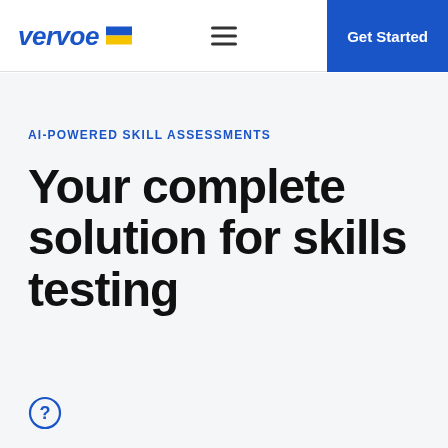vervoe | Get Started
AI-POWERED SKILL ASSESSMENTS
Your complete solution for skills testing
[Figure (other): Question mark circle icon]